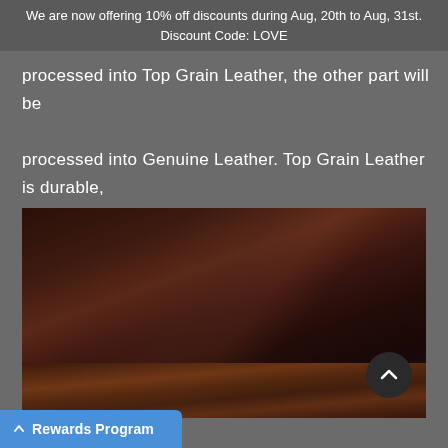We are now offering 10% off discounts during Aug, 20th to Aug, 31st. Discount Code: LOVE
processed into Top Grain Leather, the other part will be processed into Genuine Leather. Top Grain Leather is durable, not easy to break.
[Figure (photo): Close-up photo of dark brown top grain leather rolled on a wooden surface, showing smooth texture and rich color]
Rewards Program